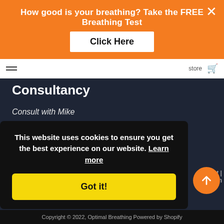How good is your breathing? Take the FREE Breathing Test
Click Here
Consultancy
Consult with Mike
Breathing Coaches
Nutrition Consultancy
Ayurvedic Consultants
This website uses cookies to ensure you get the best experience on our website. Learn more
Got it!
Copyright © 2022, Optimal Breathing Powered by Shopify